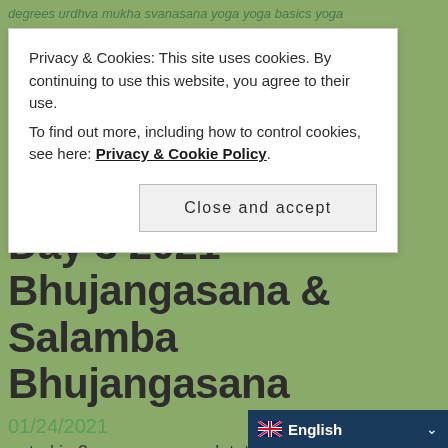degrees urdhva mukha svanasana yoga yoga basics yoga
Privacy & Cookies: This site uses cookies. By continuing to use this website, you agree to their use.
To find out more, including how to control cookies, see here: Privacy & Cookie Policy
Close and accept
Asanas – Poses – Day 3 2021 – Bhujangasana & Salamba Bhujangasana
01/24/2021
posted in 3-asanas, sun salutations
Doing our 30 Day Challenge? Click here for today's post!
Good morning Yogis! As our 30 Day Challenge group is working on a detailed breakdown of each of the poses in the Surya Namaskar,